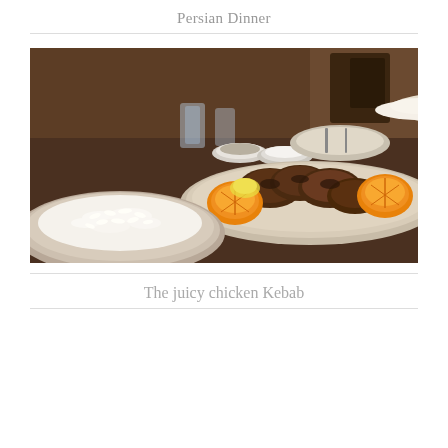Persian Dinner
[Figure (photo): A Persian restaurant dinner table scene showing a large plate of grilled chicken kebab pieces with orange halves, a bowl of white rice in the foreground on a plate, additional small bowls with condiments/sauces, glasses of water, and more dishes in the background. The table is dark wood and the setting appears to be a restaurant.]
The juicy chicken Kebab